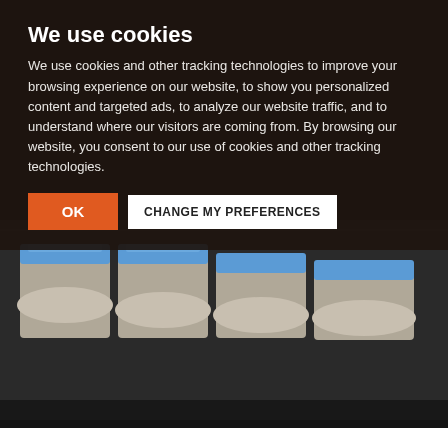We use cookies
We use cookies and other tracking technologies to improve your browsing experience on our website, to show you personalized content and targeted ads, to analyze our website traffic, and to understand where our visitors are coming from. By browsing our website, you consent to our use of cookies and other tracking technologies.
[Figure (photo): Laboratory centrifuge machines with blue lids, close-up view in a medical/research lab setting]
Gene therapy of renal diseases and study of N-terminal acetylation of proteins
RENAL DISEASES GENE THERAPY RESEARCH GROUP